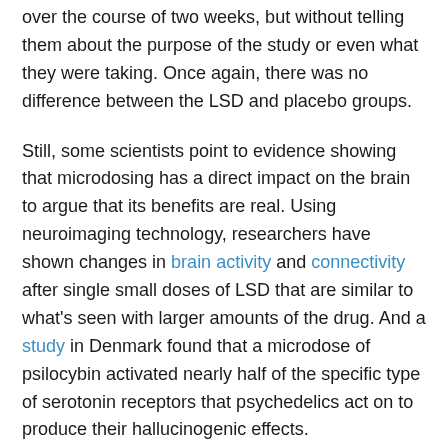over the course of two weeks, but without telling them about the purpose of the study or even what they were taking. Once again, there was no difference between the LSD and placebo groups.
Still, some scientists point to evidence showing that microdosing has a direct impact on the brain to argue that its benefits are real. Using neuroimaging technology, researchers have shown changes in brain activity and connectivity after single small doses of LSD that are similar to what's seen with larger amounts of the drug. And a study in Denmark found that a microdose of psilocybin activated nearly half of the specific type of serotonin receptors that psychedelics act on to produce their hallucinogenic effects.
[ad_2]
Source link